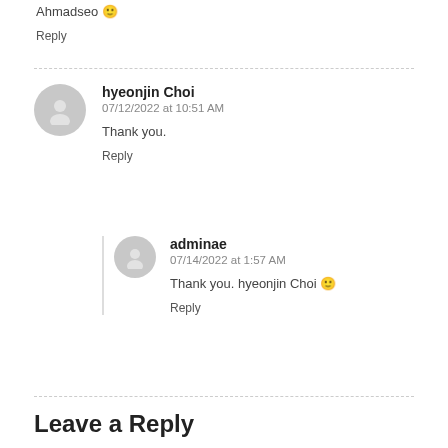Ahmadseo 🙂
Reply
hyeonjin Choi
07/12/2022 at 10:51 AM
Thank you.
Reply
adminae
07/14/2022 at 1:57 AM
Thank you. hyeonjin Choi 🙂
Reply
Leave a Reply